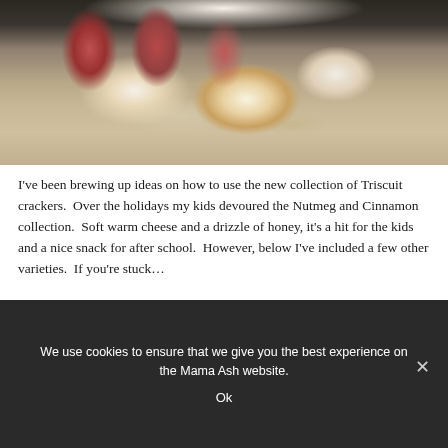[Figure (photo): Food photo showing appetizers on a white plate: crackers topped with soft white cheese and prosciutto/cured meat, with a honey drizzle visible on one piece in the foreground.]
I've been brewing up ideas on how to use the new collection of Triscuit crackers.  Over the holidays my kids devoured the Nutmeg and Cinnamon collection.  Soft warm cheese and a drizzle of honey, it's a hit for the kids and a nice snack for after school.  However, below I've included a few other varieties.  If you're stuck…
continue reading...
We use cookies to ensure that we give you the best experience on the Mama Ash website.
Ok